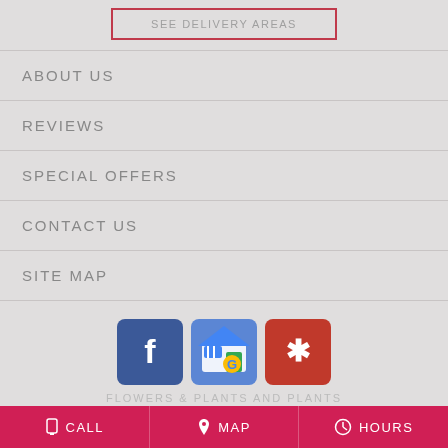SEE DELIVERY AREAS
ABOUT US
REVIEWS
SPECIAL OFFERS
CONTACT US
SITE MAP
[Figure (logo): Social media icons: Facebook, Google My Business, Yelp]
CALL   MAP   HOURS